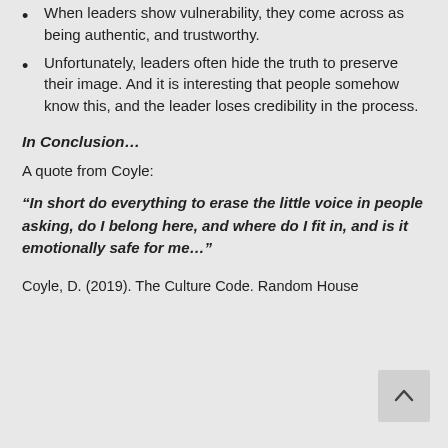When leaders show vulnerability, they come across as being authentic, and trustworthy.
Unfortunately, leaders often hide the truth to preserve their image. And it is interesting that people somehow know this, and the leader loses credibility in the process.
In Conclusion…
A quote from Coyle:
“In short do everything to erase the little voice in people asking, do I belong here, and where do I fit in, and is it emotionally safe for me…”
Coyle, D. (2019). The Culture Code. Random House